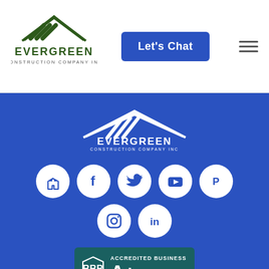[Figure (logo): Evergreen Construction Company Inc logo with green roof/chevron icon above the company name]
[Figure (other): Blue 'Let's Chat' button]
[Figure (other): Hamburger menu icon (three horizontal lines)]
[Figure (logo): Evergreen Construction Company Inc white logo on blue background in footer]
[Figure (other): Social media icons row: Houzz, Facebook, Twitter, YouTube, Pinterest]
[Figure (other): Social media icons row: Instagram, LinkedIn]
[Figure (other): BBB Accredited Business A+ Rating badge]